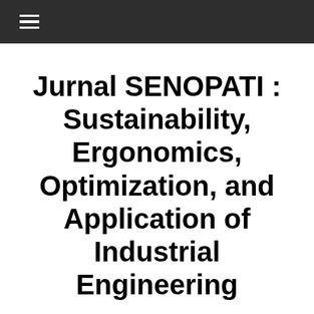≡
Jurnal SENOPATI : Sustainability, Ergonomics, Optimization, and Application of Industrial Engineering